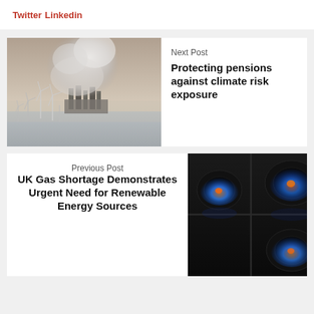Twitter
Linkedin
[Figure (photo): Industrial power plant with large smoke or steam cloud rising, and wind turbines in the foreground against a hazy sky]
Next Post
Protecting pensions against climate risk exposure
Previous Post
UK Gas Shortage Demonstrates Urgent Need for Renewable Energy Sources
[Figure (photo): Close-up of gas stove burners with blue flames lit against a dark background]